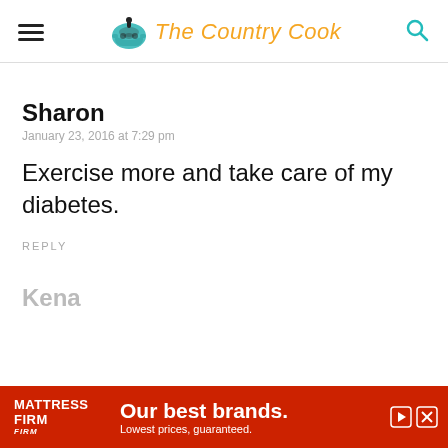The Country Cook
Sharon
January 23, 2016 at 7:29 pm
Exercise more and take care of my diabetes.
REPLY
Kena
[Figure (illustration): Mattress Firm advertisement banner: red background with Mattress Firm logo on left, 'Our best brands. Lowest prices, guaranteed.' text, and play/close controls on right.]